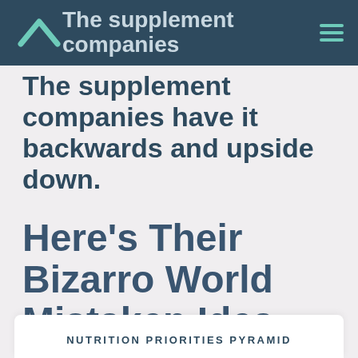The supplement companies have it backwards and upside down.
Here’s Their Bizarro World Mistaken Idea…
NUTRITION PRIORITIES PYRAMID